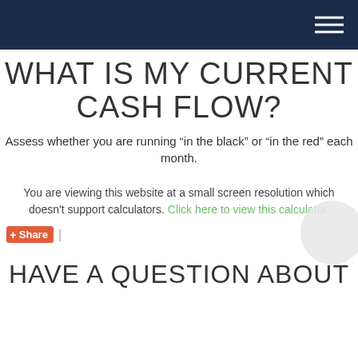WHAT IS MY CURRENT CASH FLOW?
Assess whether you are running “in the black” or “in the red” each month.
You are viewing this website at a small screen resolution which doesn't support calculators. Click here to view this calculator.
+Share |
HAVE A QUESTION ABOUT